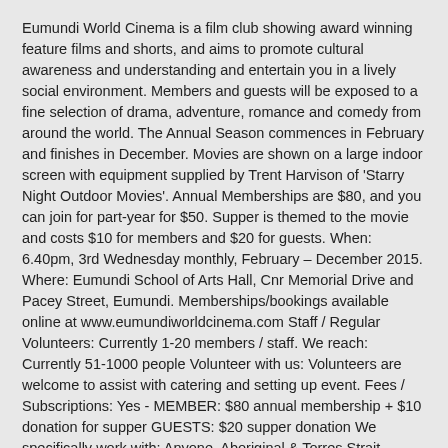Eumundi World Cinema is a film club showing award winning feature films and shorts, and aims to promote cultural awareness and understanding and entertain you in a lively social environment. Members and guests will be exposed to a fine selection of drama, adventure, romance and comedy from around the world. The Annual Season commences in February and finishes in December. Movies are shown on a large indoor screen with equipment supplied by Trent Harvison of 'Starry Night Outdoor Movies'. Annual Memberships are $80, and you can join for part-year for $50. Supper is themed to the movie and costs $10 for members and $20 for guests. When: 6.40pm, 3rd Wednesday monthly, February – December 2015. Where: Eumundi School of Arts Hall, Cnr Memorial Drive and Pacey Street, Eumundi. Memberships/bookings available online at www.eumundiworldcinema.com Staff / Regular Volunteers: Currently 1-20 members / staff. We reach: Currently 51-1000 people Volunteer with us: Volunteers are welcome to assist with catering and setting up event. Fees / Subscriptions: Yes - MEMBER: $80 annual membership + $10 donation for supper GUESTS: $20 supper donation We specifically work with: Anyone, Aboriginal & Torres Strait Islanders, Adults, Men, Multicultural People, Older People, People with a Disability, Women People who enjoy foreign language films and are over 18.